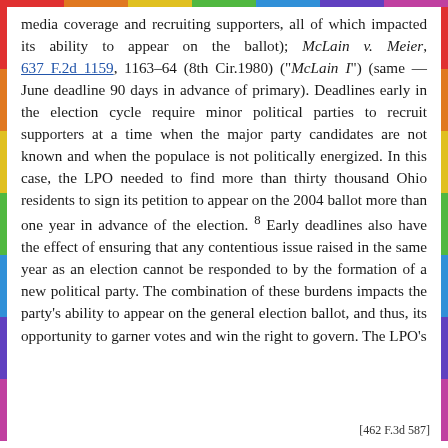media coverage and recruiting supporters, all of which impacted its ability to appear on the ballot); McLain v. Meier, 637 F.2d 1159, 1163–64 (8th Cir.1980) ("McLain I") (same — June deadline 90 days in advance of primary). Deadlines early in the election cycle require minor political parties to recruit supporters at a time when the major party candidates are not known and when the populace is not politically energized. In this case, the LPO needed to find more than thirty thousand Ohio residents to sign its petition to appear on the 2004 ballot more than one year in advance of the election. 8 Early deadlines also have the effect of ensuring that any contentious issue raised in the same year as an election cannot be responded to by the formation of a new political party. The combination of these burdens impacts the party's ability to appear on the general election ballot, and thus, its opportunity to garner votes and win the right to govern. The LPO's
[462 F.3d 587]